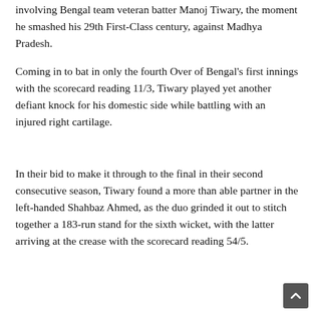involving Bengal team veteran batter Manoj Tiwary, the moment he smashed his 29th First-Class century, against Madhya Pradesh.
Coming in to bat in only the fourth Over of Bengal's first innings with the scorecard reading 11/3, Tiwary played yet another defiant knock for his domestic side while battling with an injured right cartilage.
In their bid to make it through to the final in their second consecutive season, Tiwary found a more than able partner in the left-handed Shahbaz Ahmed, as the duo grinded it out to stitch together a 183-run stand for the sixth wicket, with the latter arriving at the crease with the scorecard reading 54/5.